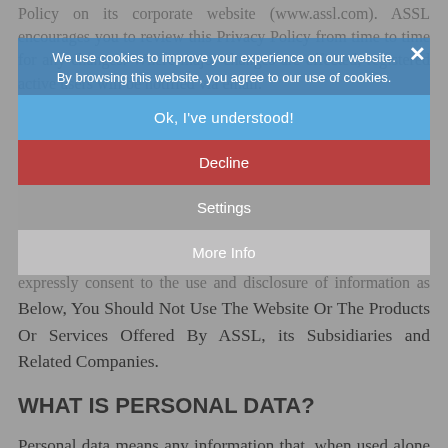Policy on its corporate website (www.assl.com). ASSL encourages you to review this Privacy Policy from time to time for any changes. Where major changes are effected, registered active users will be notified via email.
[Figure (screenshot): Cookie consent modal overlay with blue notification bar reading 'We use cookies to improve your experience on our website. By browsing this website, you agree to our use of cookies.' and four buttons: 'Ok, I've understood!' (blue), 'Decline' (red), 'Settings' (gray), 'More Info' (light gray). An X close button is in the top right corner.]
By using ASSL's and its subsidiaries websites or any products or services provided by ASSL and its subsidiaries, you expressly consent to the use and disclosure of information as described in this Privacy Policy. If You Do Not Agree With Any Of The Terms Below, You Should Not Use The Website Or The Products Or Services Offered By ASSL, its Subsidiaries and Related Companies.
WHAT IS PERSONAL DATA?
Personal data means any information that, when used alone or combined with other data, may be used to identify an individual. This includes, but is not limited to, an individual's first and last name, e-mail address, mailing and/or residential addresses, telephone number, title,